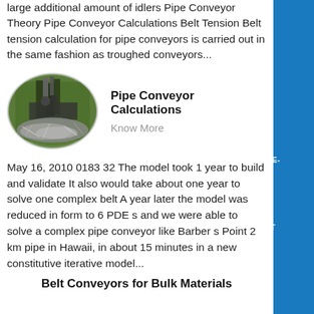large additional amount of idlers Pipe Conveyor Theory Pipe Conveyor Calculations Belt Tension Belt tension calculation for pipe conveyors is carried out in the same fashion as troughed conveyors...
[Figure (photo): Oval-shaped photo of industrial machinery with metal shavings/chips around it, green machine in background]
Pipe Conveyor Calculations
Know More
May 16, 2010 0183 32 The model took 1 year to build and validate It also would take about one year to solve one complex belt A year later the model was reduced in form to 6 PDE s and we were able to solve a complex pipe conveyor like Barber s Point 2 km pipe in Hawaii, in about 15 minutes in a new constitutive iterative model...
Belt Conveyors for Bulk Materials